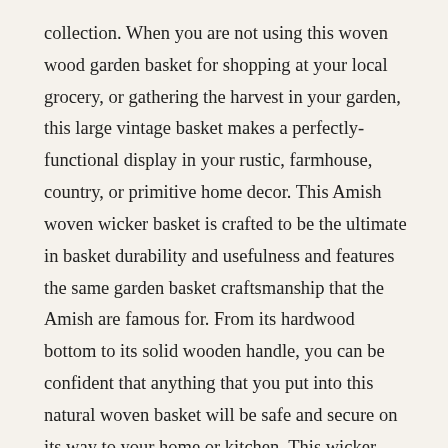collection. When you are not using this woven wood garden basket for shopping at your local grocery, or gathering the harvest in your garden, this large vintage basket makes a perfectly-functional display in your rustic, farmhouse, country, or primitive home decor. This Amish woven wicker basket is crafted to be the ultimate in basket durability and usefulness and features the same garden basket craftsmanship that the Amish are famous for. From its hardwood bottom to its solid wooden handle, you can be confident that anything that you put into this natural woven basket will be safe and secure on its way to your home or kitchen. This wicker basket with handle measures 15” tall overall including the handle and the basket itself measures 8 1/4” tall. This large woven wicker garden and market basket (sometimes referred to as a large French market basket) is handcrafted by Old-Order Amish families in the